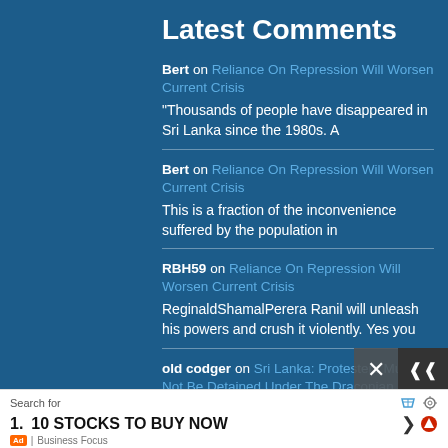Latest Comments
Bert on Reliance On Repression Will Worsen Current Crisis
"Thousands of people have disappeared in Sri Lanka since the 1980s. A
Bert on Reliance On Repression Will Worsen Current Crisis
This is a fraction of the inconvenience suffered by the population in
RBH59 on Reliance On Repression Will Worsen Current Crisis
ReginaldShamalPerera Ranil will unleash his powers and crush it violently. Yes you
old codger on Sri Lanka: Protesters Must Not Be Detained Under The Draconian Anti-Terror Law: Amnesty International
Nimal, "Old Codger lusts after a woman
Search for
1.   10 STOCKS TO BUY NOW
Ad | Business Focus